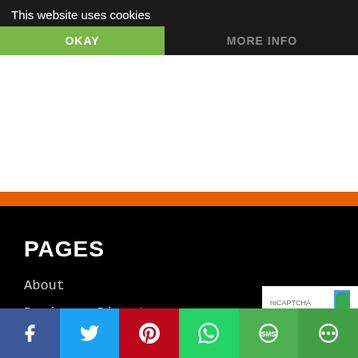This website uses cookies
OKAY
MORE INFO
PAGES
About
Business Directory
Contact
[Figure (infographic): Social sharing bar with Facebook, Twitter, Pinterest, WhatsApp, SMS, and More icons]